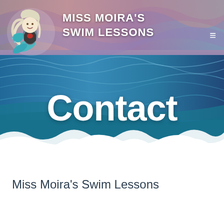[Figure (illustration): Hero banner with colorful water/ocean background photograph in blues, purples, pinks. Contains mermaid logo illustration (cartoon mermaid with white hair) in top-left, site title text, hamburger menu icon, and 'Contact' heading overlaid on the water image. White wave shape at bottom of hero.]
Contact
Miss Moira's Swim Lessons